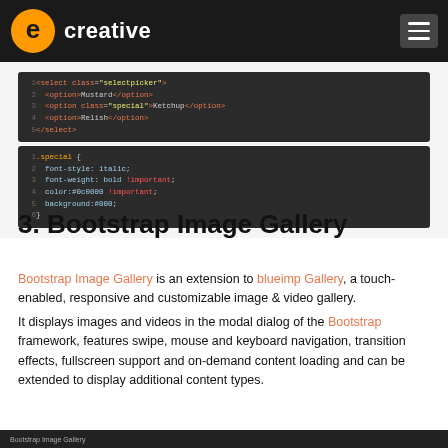e creative [logo] [hamburger menu]
[Figure (screenshot): Code editor screenshot showing HTML select element with selectpicker class and CSS .special class styling with font-style italic, font-weight bold important, color #0c0000 important, background #000]
3. Bootstrap Image Gallery
Bootstrap Image Gallery is an extension to blueimp Gallery, a touch-enabled, responsive and customizable image & video gallery.
It displays images and videos in the modal dialog of the Bootstrap framework, features swipe, mouse and keyboard navigation, transition effects, fullscreen support and on-demand content loading and can be extended to display additional content types.
Bootstrap Image Gallery